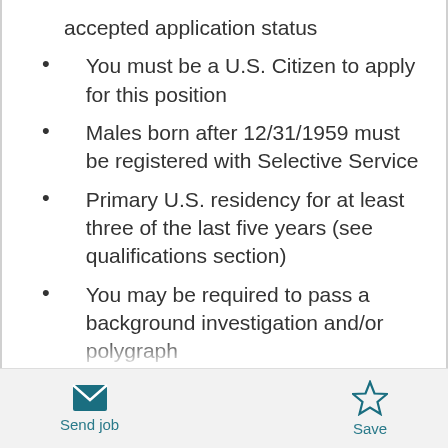accepted application status
You must be a U.S. Citizen to apply for this position
Males born after 12/31/1959 must be registered with Selective Service
Primary U.S. residency for at least three of the last five years (see qualifications section)
You may be required to pass a background investigation and/or polygraph
CBP follows the DHS Drug-Free Workplace Plan for drug testing procedures
You may be required to pass an agency fitness
Send job   Save